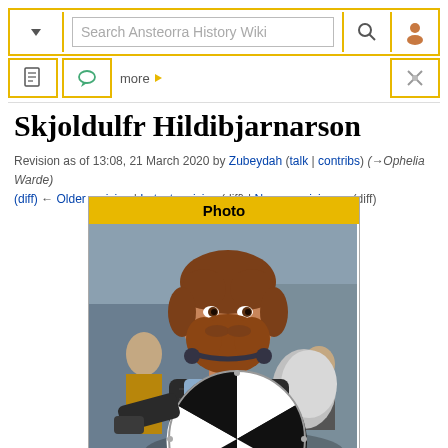Search Ansteorra History Wiki
Skjoldulfr Hildibjarnarson
Revision as of 13:08, 21 March 2020 by Zubeydah (talk | contribs) (→Ophelia Warde)
(diff) ← Older revision | Latest revision (diff) | Newer revision → (diff)
[Figure (photo): Person wearing medieval armor and holding a black-and-white round shield, with a beard and reddish-brown hair, in an indoor setting with others in the background. Table header reads 'Photo'.]